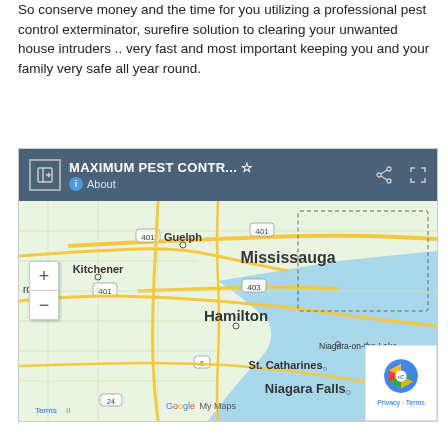So conserve money and the time for you utilizing a professional pest control exterminator, surefire solution to clearing your unwanted house intruders .. very fast and most important keeping you and your family very safe all year round.
[Figure (map): Google My Maps screenshot showing MAXIMUM PEST CONTR... location map covering Southern Ontario including Guelph, Kitchener, Mississauga, Hamilton, St. Catharines, Niagara Falls, and Niagara-on-the-Lake. Shows highway routes 401, 403, 6, 24, 290. Map includes zoom controls and Google branding.]